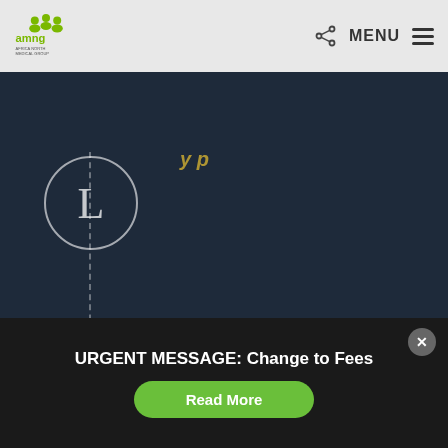AMNG — Africa North Medical Group — MENU
[Figure (illustration): Letter L inside a circle with dashed vertical line, indicating alphabetical section divider]
Lactose Intolerance
Laparoscopy
Laryngitis
Leukemia
Liver Disease
Low Blood Pressure
URGENT MESSAGE: Change to Fees
Read More